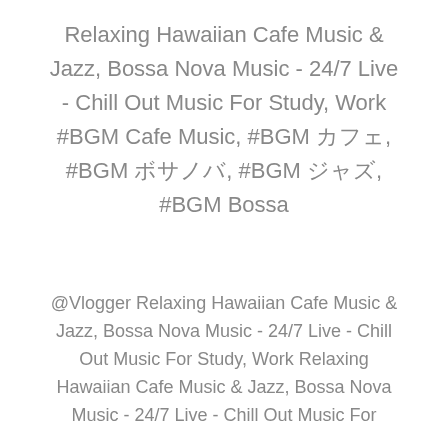Relaxing Hawaiian Cafe Music & Jazz, Bossa Nova Music - 24/7 Live - Chill Out Music For Study, Work #BGM Cafe Music, #BGM カフェ, #BGM ボサノバ, #BGM ジャズ, #BGM Bossa
@Vlogger Relaxing Hawaiian Cafe Music & Jazz, Bossa Nova Music - 24/7 Live - Chill Out Music For Study, Work Relaxing Hawaiian Cafe Music & Jazz, Bossa Nova Music - 24/7 Live - Chill Out Music For